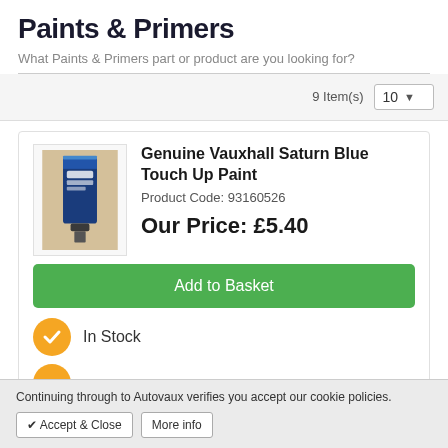Paints & Primers
What Paints & Primers part or product are you looking for?
9 Item(s)   10
Genuine Vauxhall Saturn Blue Touch Up Paint
Product Code: 93160526
Our Price: £5.40
Add to Basket
In Stock
Continuing through to Autovaux verifies you accept our cookie policies.
✔ Accept & Close   More info